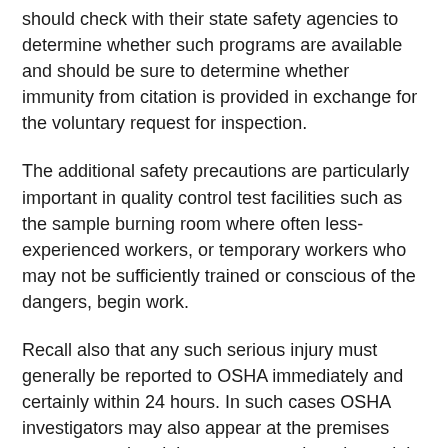should check with their state safety agencies to determine whether such programs are available and should be sure to determine whether immunity from citation is provided in exchange for the voluntary request for inspection.
The additional safety precautions are particularly important in quality control test facilities such as the sample burning room where often less-experienced workers, or temporary workers who may not be sufficiently trained or conscious of the dangers, begin work.
Recall also that any such serious injury must generally be reported to OSHA immediately and certainly within 24 hours. In such cases OSHA investigators may also appear at the premises unannounced and, in most states, there is no right to have counsel present when OSHA is conducting its initial interviews with employees, so management should consider a plan for unplanned requests for interviews from safety investigators and ensure that employees are instructed in